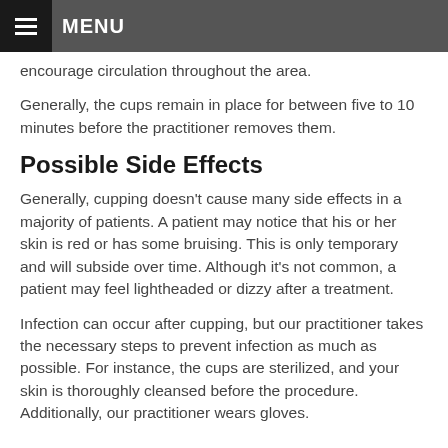MENU
encourage circulation throughout the area.
Generally, the cups remain in place for between five to 10 minutes before the practitioner removes them.
Possible Side Effects
Generally, cupping doesn't cause many side effects in a majority of patients. A patient may notice that his or her skin is red or has some bruising. This is only temporary and will subside over time. Although it's not common, a patient may feel lightheaded or dizzy after a treatment.
Infection can occur after cupping, but our practitioner takes the necessary steps to prevent infection as much as possible. For instance, the cups are sterilized, and your skin is thoroughly cleansed before the procedure. Additionally, our practitioner wears gloves.